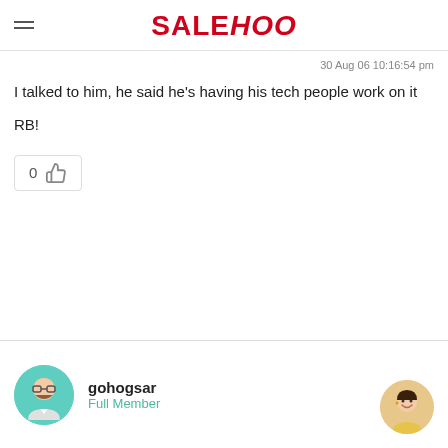SALEHOO
30 Aug 06 10:16:54 pm
I talked to him, he said he's having his tech people work on it
RB!
[Figure (illustration): Like button with thumbs up icon showing count 0]
[Figure (illustration): User avatar circle with cartoon bearded man with glasses on teal background]
gohogsar
Full Member
[Figure (photo): Support agent avatar photo of smiling woman]